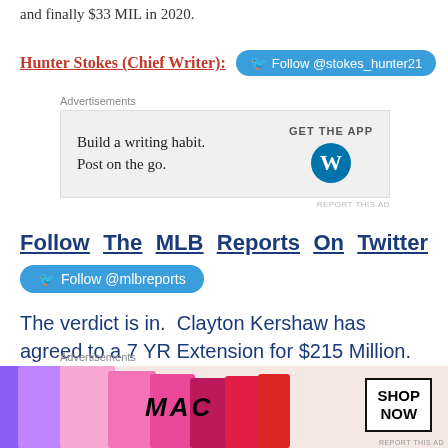and finally $33 MIL in 2020.
Hunter Stokes (Chief Writer):
[Figure (other): Twitter follow button: Follow @stokes_hunter21]
[Figure (other): Advertisement: Build a writing habit. Post on the go. GET THE APP (WordPress logo)]
Follow The MLB Reports On Twitter
[Figure (other): Twitter follow button: Follow @mlbreports]
The verdict is in. Clayton Kershaw has agreed to a 7 YR Extension for $215 Million.
It is the highest Annual Average Contract ($30.7 MIL) in the history of Major League Baseball, topping A Rod
[Figure (other): Advertisement: MAC cosmetics lipsticks. SHOP NOW]